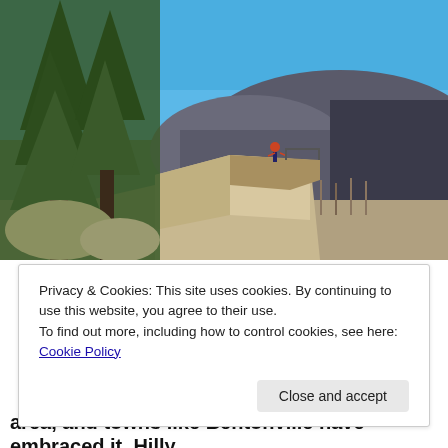[Figure (photo): Outdoor landscape photo showing a rocky cliff overlook with evergreen trees on the left, a person standing on the rocky promontory with arms raised, and a wide valley with bare winter trees and a forested hillside in the background under a clear blue sky.]
Privacy & Cookies: This site uses cookies. By continuing to use this website, you agree to their use.
To find out more, including how to control cookies, see here: Cookie Policy
Close and accept
area, and towns like Bentonville have embraced it. Hilly